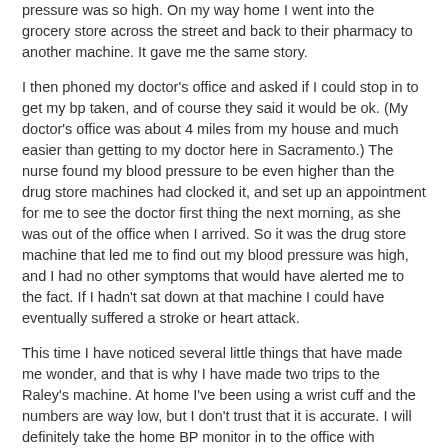pressure was so high. On my way home I went into the grocery store across the street and back to their pharmacy to another machine. It gave me the same story.
I then phoned my doctor's office and asked if I could stop in to get my bp taken, and of course they said it would be ok. (My doctor's office was about 4 miles from my house and much easier than getting to my doctor here in Sacramento.) The nurse found my blood pressure to be even higher than the drug store machines had clocked it, and set up an appointment for me to see the doctor first thing the next morning, as she was out of the office when I arrived. So it was the drug store machine that led me to find out my blood pressure was high, and I had no other symptoms that would have alerted me to the fact. If I hadn't sat down at that machine I could have eventually suffered a stroke or heart attack.
This time I have noticed several little things that have made me wonder, and that is why I have made two trips to the Raley's machine. At home I've been using a wrist cuff and the numbers are way low, but I don't trust that it is accurate. I will definitely take the home BP monitor in to the office with